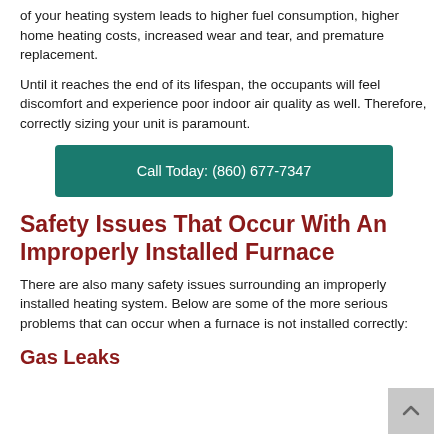of your heating system leads to higher fuel consumption, higher home heating costs, increased wear and tear, and premature replacement.
Until it reaches the end of its lifespan, the occupants will feel discomfort and experience poor indoor air quality as well. Therefore, correctly sizing your unit is paramount.
Call Today: (860) 677-7347
Safety Issues That Occur With An Improperly Installed Furnace
There are also many safety issues surrounding an improperly installed heating system. Below are some of the more serious problems that can occur when a furnace is not installed correctly:
Gas Leaks